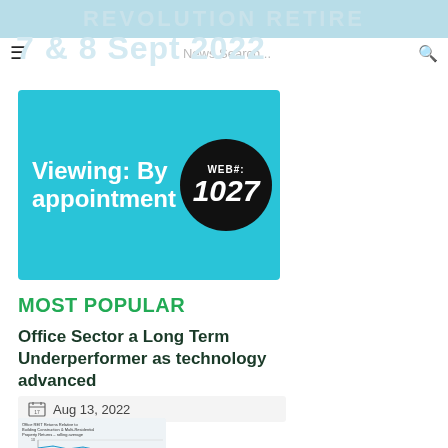7 & 8 Sept 2022 | News Search
[Figure (infographic): Cyan banner reading 'Viewing: By appointment' with black circle badge 'WEB#: 1027']
MOST POPULAR
Office Sector a Long Term Underperformer as technology advanced
Aug 13, 2022
[Figure (continuous-plot): Small thumbnail line chart showing office sector underperformance data over time]